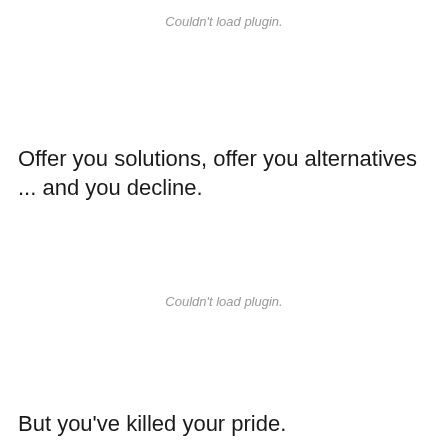Couldn't load plugin.
Offer you solutions, offer you alternatives ... and you decline.
Couldn't load plugin.
But you've killed your pride.